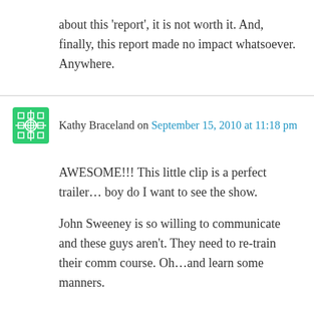about this 'report', it is not worth it. And, finally, this report made no impact whatsoever. Anywhere.
Kathy Braceland on September 15, 2010 at 11:18 pm
AWESOME!!! This little clip is a perfect trailer… boy do I want to see the show.
John Sweeney is so willing to communicate and these guys aren't. They need to re-train their comm course. Oh…and learn some manners.
JF on September 15, 2010 at 11:21 pm
In a new unit of time, there are two items that I would like to mention on this blog...